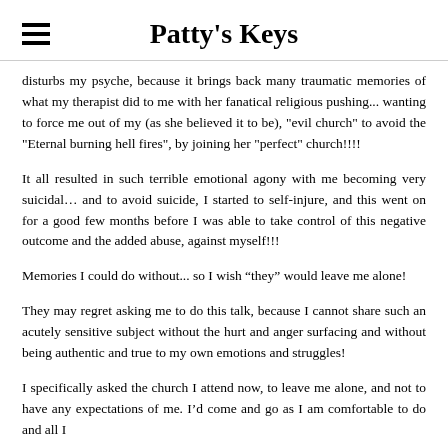Patty's Keys
disturbs my psyche, because it brings back many traumatic memories of what my therapist did to me with her fanatical religious pushing... wanting to force me out of my (as she believed it to be), "evil church" to avoid the "Eternal burning hell fires", by joining her "perfect" church!!!!
It all resulted in such terrible emotional agony with me becoming very suicidal… and to avoid suicide, I started to self-injure, and this went on for a good few months before I was able to take control of this negative outcome and the added abuse, against myself!!!
Memories I could do without... so I wish “they” would leave me alone!
They may regret asking me to do this talk, because I cannot share such an acutely sensitive subject without the hurt and anger surfacing and without being authentic and true to my own emotions and struggles!
I specifically asked the church I attend now, to leave me alone, and not to have any expectations of me. I’d come and go as I am comfortable to do and all I